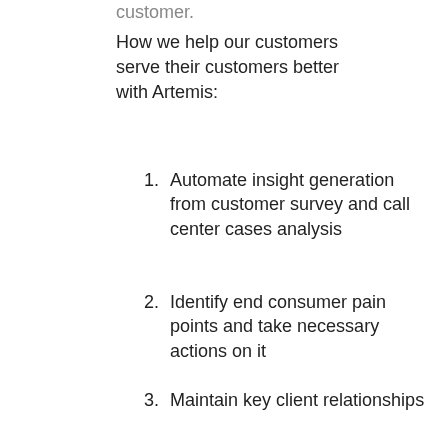customer.
How we help our customers serve their customers better with Artemis:
Automate insight generation from customer survey and call center cases analysis
Identify end consumer pain points and take necessary actions on it
Maintain key client relationships
Ensure customer satisfaction
Reduce SG&A Cost to drive